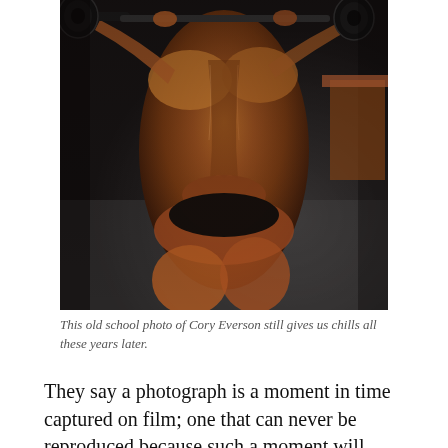[Figure (photo): A muscular female bodybuilder lifting a barbell with weights in a gym, photographed from behind/side showing defined back and leg muscles, wearing a black bikini. The image has warm tones with dramatic gym lighting.]
This old school photo of Cory Everson still gives us chills all these years later.
They say a photograph is a moment in time captured on film; one that can never be reproduced because such a moment will never